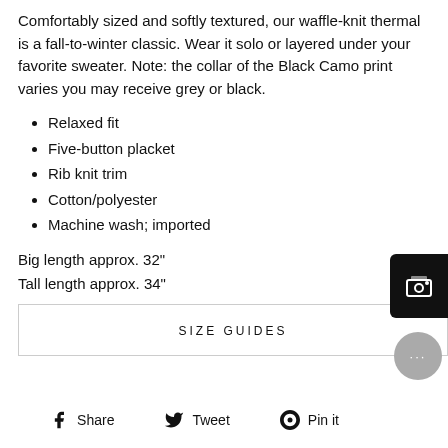Comfortably sized and softly textured, our waffle-knit thermal is a fall-to-winter classic. Wear it solo or layered under your favorite sweater. Note: the collar of the Black Camo print varies you may receive grey or black.
Relaxed fit
Five-button placket
Rib knit trim
Cotton/polyester
Machine wash; imported
Big length approx. 32"
Tall length approx. 34"
SIZE GUIDES
Share  Tweet  Pin it